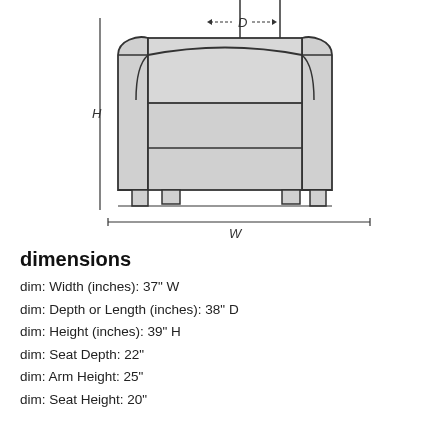[Figure (engineering-diagram): Front-view line drawing of an armchair with dimension annotations: D (depth) shown at top with dashed arrows, H (height) shown on left with a vertical line, W (width) shown at bottom with a horizontal line. The chair has two arms, a backrest, seat cushion, and four small feet.]
dimensions
dim: Width (inches): 37" W
dim: Depth or Length (inches): 38" D
dim: Height (inches): 39" H
dim: Seat Depth: 22"
dim: Arm Height: 25"
dim: Seat Height: 20"